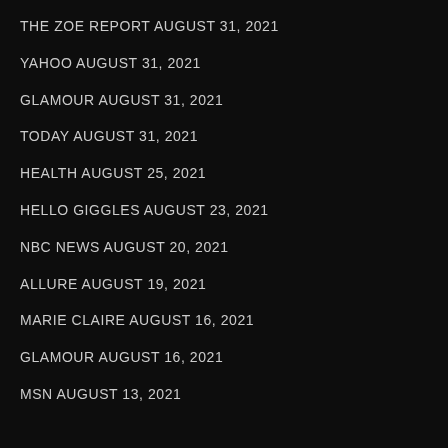THE ZOE REPORT AUGUST 31, 2021
YAHOO AUGUST 31, 2021
GLAMOUR AUGUST 31, 2021
TODAY AUGUST 31, 2021
HEALTH AUGUST 25, 2021
HELLO GIGGLES AUGUST 23, 2021
NBC NEWS AUGUST 20, 2021
ALLURE AUGUST 19, 2021
MARIE CLAIRE AUGUST 16, 2021
GLAMOUR AUGUST 16, 2021
MSN AUGUST 13, 2021